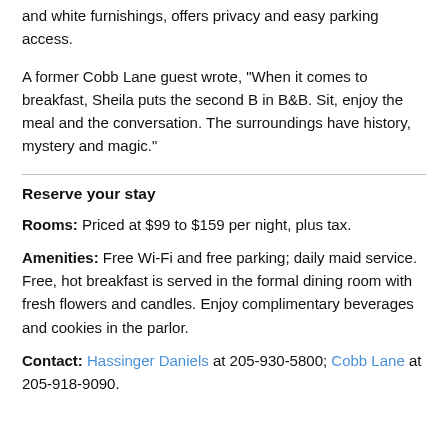and white furnishings, offers privacy and easy parking access.
A former Cobb Lane guest wrote, "When it comes to breakfast, Sheila puts the second B in B&B. Sit, enjoy the meal and the conversation. The surroundings have history, mystery and magic."
Reserve your stay
Rooms: Priced at $99 to $159 per night, plus tax.
Amenities: Free Wi-Fi and free parking; daily maid service. Free, hot breakfast is served in the formal dining room with fresh flowers and candles. Enjoy complimentary beverages and cookies in the parlor.
Contact: Hassinger Daniels at 205-930-5800; Cobb Lane at 205-918-9090.